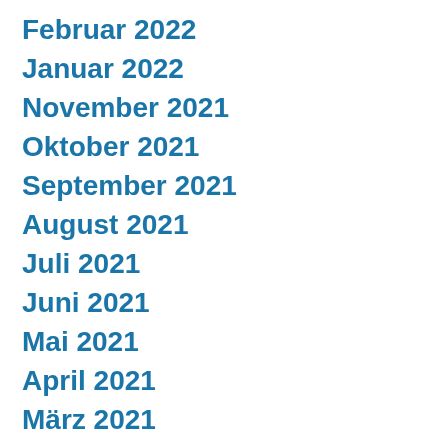Februar 2022
Januar 2022
November 2021
Oktober 2021
September 2021
August 2021
Juli 2021
Juni 2021
Mai 2021
April 2021
März 2021